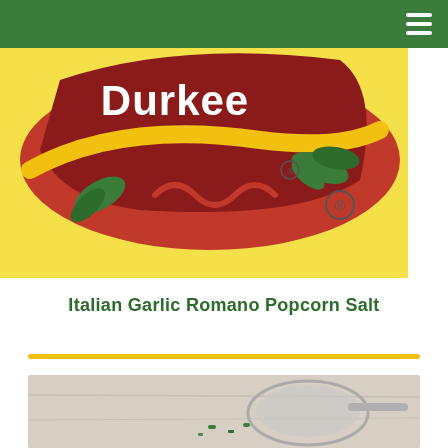Durkee (navigation header with hamburger menu)
[Figure (photo): Durkee brand product packaging photo showing the Durkee logo on a yellow background with red and green design elements]
Italian Garlic Romano Popcorn Salt
[Figure (photo): Bottom portion of a product photo showing a bowl or container with spice product]